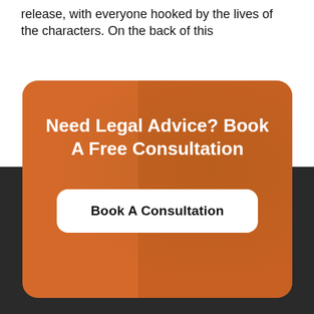release, with everyone hooked by the lives of the characters. On the back of this
[Figure (infographic): Orange rounded-rectangle card with heading 'Need Legal Advice? Book A Free Consultation' in white bold text, and a white rounded button labeled 'Book A Consultation' in black bold text. The card sits atop a dark charcoal footer area.]